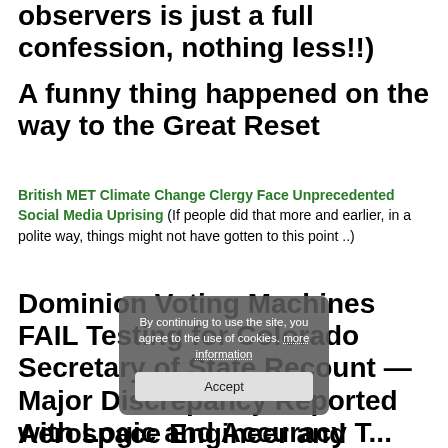observers is just a full confession, nothing less!!)
A funny thing happened on the way to the Great Reset
British MET Climate Change Clergy Face Unprecedented Social Media Uprising (If people did that more and earlier, in a polite way, things might not have gotten to this point ..)
Dominion Voting Machines FAIL Testing for Colorado Secretary of State Recount — Major Discrepancy Reported with Logic and Accuracy T...
Aerospace Engineer and Former